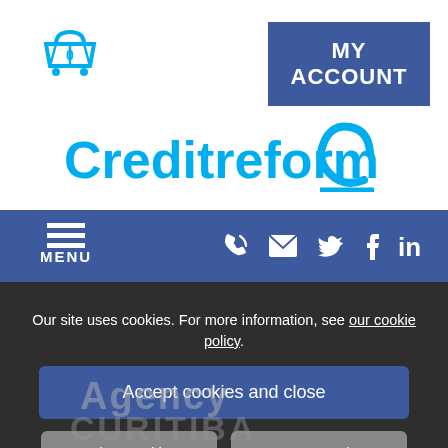[Figure (logo): Shopping cart icon with '0' label in blue]
[Figure (other): MY ACCOUNT button — blue rectangle with white bold text]
[Figure (logo): Creditreform logo in cyan/blue with stylized C icon]
[Figure (other): Navigation bar with hamburger menu (MENU), phone, email, Twitter, Facebook, LinkedIn icons on blue background]
Our site uses cookies. For more information, see our cookie policy.
[Figure (other): Accept cookies and close button — blue rounded rectangle]
[Figure (other): Reject cookies and Manage settings buttons — grey rounded rectangles]
Agency CURITIBA